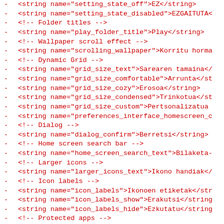- <string name="setting_state_off">EZ</string>
- <string name="setting_state_disabled">EZGAITUTA<
- <!-- Folder titles -->
- <string name="play_folder_title">Play</string>
- <!-- Wallpaper scroll effect -->
- <string name="scrolling_wallpaper">Korritu horma
- <!-- Dynamic Grid -->
- <string name="grid_size_text">Sarearen tamaina</
- <string name="grid_size_comfortable">Arrunta</st
- <string name="grid_size_cozy">Erosoa</string>
- <string name="grid_size_condensed">Trinkotua</st
- <string name="grid_size_custom">Pertsonalizatua
- <string name="preferences_interface_homescreen_c
- <!-- Dialog -->
- <string name="dialog_confirm">Berretsi</string>
- <!-- Home screen search bar -->
- <string name="home_screen_search_text">Bilaketa-
- <!-- Larger icons -->
- <string name="larger_icons_text">Ikono handiak</
- <!-- Icon labels -->
- <string name="icon_labels">Ikonoen etiketak</str
- <string name="icon_labels_show">Erakutsi</string
- <string name="icon_labels_hide">Ezkutatu</string
- <!-- Protected apps -->
- <string name="protected_app_settings">Babesturik
- <!-- Developer settings -->
- <string name="export_workspace_layout">Esportatu
- <!-- Drawer settings -->
- <string name="app_drawer_style">Tiraderaren esti
- <string name="app_drawer_style_compact">Konpaktu